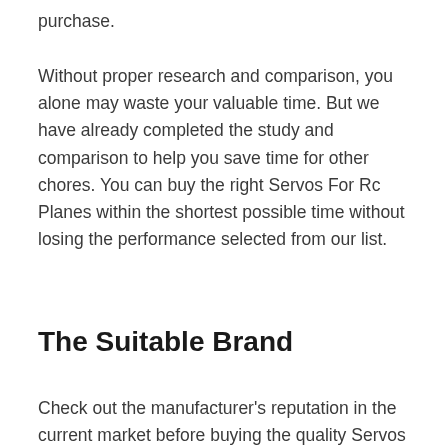purchase.
Without proper research and comparison, you alone may waste your valuable time. But we have already completed the study and comparison to help you save time for other chores. You can buy the right Servos For Rc Planes within the shortest possible time without losing the performance selected from our list.
The Suitable Brand
Check out the manufacturer’s reputation in the current market before buying the quality Servos For Rc Planes. The desired Servos For Rc Planes will be efficient if you discover everything trustworthy and user-friendly. So, you can compare